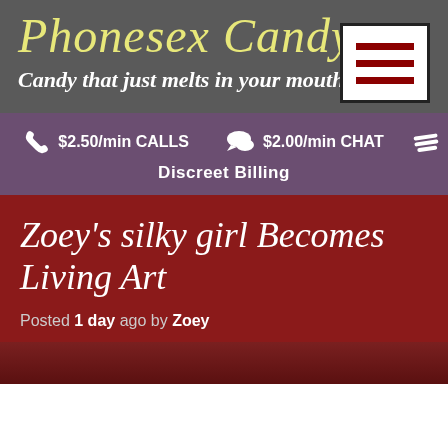Phonesex Candy
Candy that just melts in your mouth
[Figure (other): Hamburger menu button with three dark red horizontal lines on white background with black border]
$2.50/min CALLS   $2.00/min CHAT   Discreet Billing
Zoey's silky girl Becomes Living Art
Posted 1 day ago by Zoey
[Figure (photo): Partial view of a photo at the bottom of the page, dark reddish background]